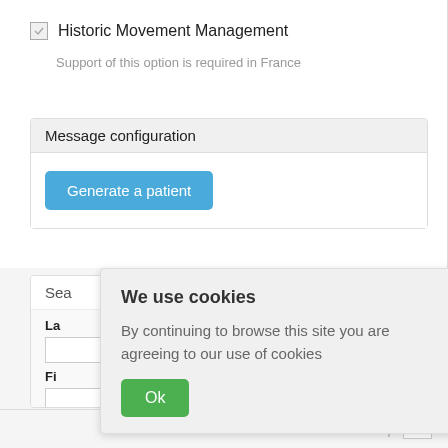Historic Movement Management
Support of this option is required in France
Message configuration
Generate a patient
Sea
La
Fi
We use cookies
By continuing to browse this site you are agreeing to our use of cookies
Ok
About   Back to top   E